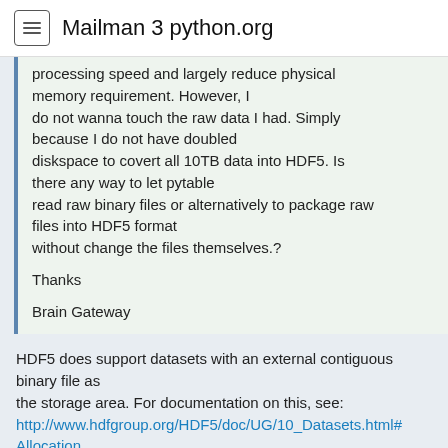Mailman 3 python.org
processing speed and largely reduce physical memory requirement. However, I do not wanna touch the raw data I had. Simply because I do not have doubled diskspace to covert all 10TB data into HDF5. Is there any way to let pytable read raw binary files or alternatively to package raw files into HDF5 format without change the files themselves.?

Thanks

Brain Gateway
HDF5 does support datasets with an external contiguous binary file as the storage area. For documentation on this, see: http://www.hdfgroup.org/HDF5/doc/UG/10_Datasets.html#Allocation